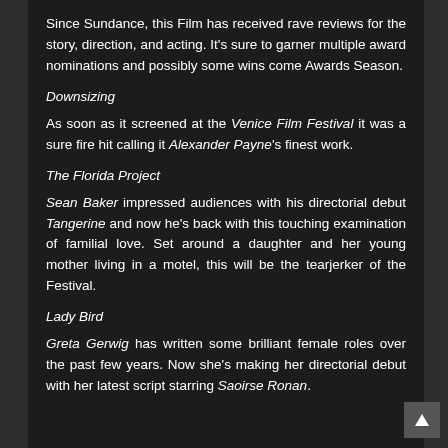Since Sundance, this Film has received rave reviews for the story, direction, and acting. It's sure to garner multiple award nominations and possibly some wins come Awards Season.
Downsizing
As soon as it screened at the Venice Film Festival it was a sure fire hit calling it Alexander Payne's finest work.
The Florida Project
Sean Baker impressed audiences with his directorial debut Tangerine and now he's back with this touching examination of familial love. Set around a daughter and her young mother living in a motel, this will be the tearjerker of the Festival.
Lady Bird
Greta Gerwig has written some brilliant female roles over the past few years. Now she's making her directorial debut with her latest script starring Saoirse Ronan.